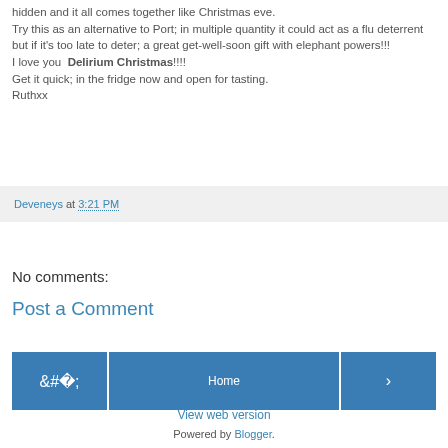hidden and it all comes together like Christmas eve.
Try this as an alternative to Port; in multiple quantity it could act as a flu deterrent but if it's too late to deter; a great get-well-soon gift with elephant powers!!!
I love you  Delirium Christmas!!!!
Get it quick; in the fridge now and open for tasting.
Ruthxx
Deveneys at 3:21 PM
No comments:
Post a Comment
‹
Home
›
View web version
Powered by Blogger.